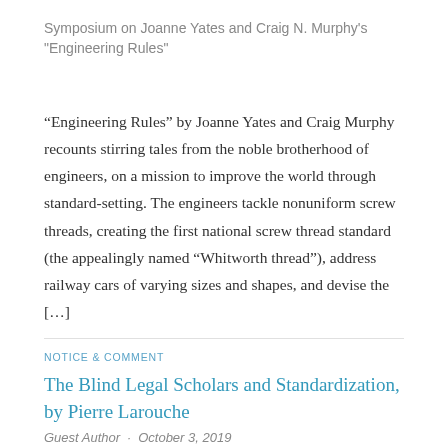Symposium on Joanne Yates and Craig N. Murphy's "Engineering Rules"
“Engineering Rules” by Joanne Yates and Craig Murphy recounts stirring tales from the noble brotherhood of engineers, on a mission to improve the world through standard-setting. The engineers tackle nonuniform screw threads, creating the first national screw thread standard (the appealingly named “Whitworth thread”), address railway cars of varying sizes and shapes, and devise the [...]
NOTICE & COMMENT
The Blind Legal Scholars and Standardization, by Pierre Larouche
Guest Author · October 3, 2019